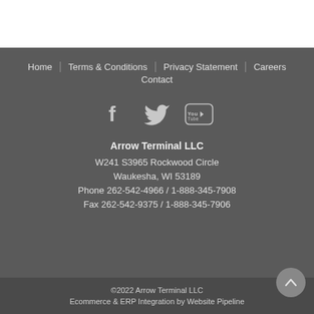Home   Terms & Conditions   Privacy Statement   Careers   Contact
[Figure (other): Social media icons: Facebook, Twitter, YouTube]
Arrow Terminal LLC
W241 S3965 Rockwood Circle
Waukesha, WI 53189
Phone 262-542-4966 / 1-888-345-7908
Fax 262-542-9375 / 1-888-345-7906
©2022 Arrow Terminal LLC
Ecommerce & ERP Integration by Website Pipeline